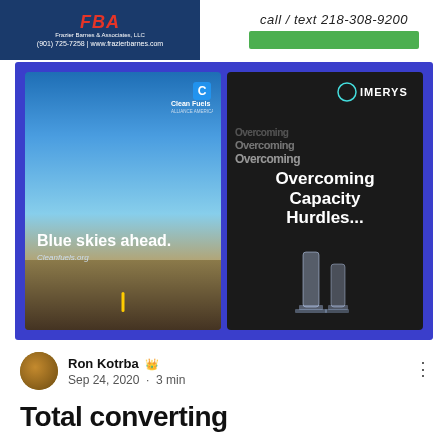[Figure (illustration): Left advertisement banner for Frazier Barnes & Associates, LLC with dark blue background, red stylized logo text, company name, phone (901) 725-7258 and website www.frazierbarnes.com]
[Figure (illustration): Right advertisement area with italic text 'call / text 218-308-9200' and a green bar below]
[Figure (illustration): Blue banner containing two side-by-side promotional cards: left card for Clean Fuels Alliance America showing road/sky with text 'Blue skies ahead.' and 'Cleanfuels.org'; right card for Imerys on black background showing layered 'Overcoming Capacity Hurdles...' text with trophy trophies at bottom]
[Figure (photo): Circular avatar photo of Ron Kotrba, a man with glasses and beard]
Ron Kotrba 👑
Sep 24, 2020 · 3 min
Total converting